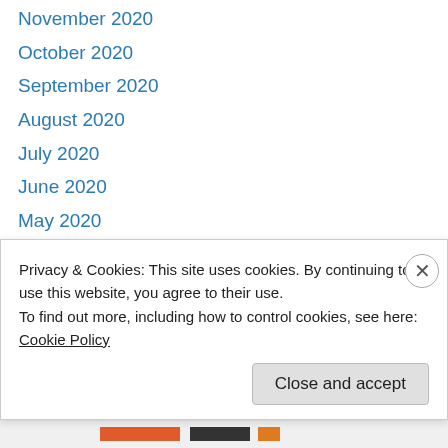November 2020
October 2020
September 2020
August 2020
July 2020
June 2020
May 2020
October 2019
May 2019
March 2019
August 2018
May 2018
April 2018
Privacy & Cookies: This site uses cookies. By continuing to use this website, you agree to their use.
To find out more, including how to control cookies, see here: Cookie Policy
Close and accept